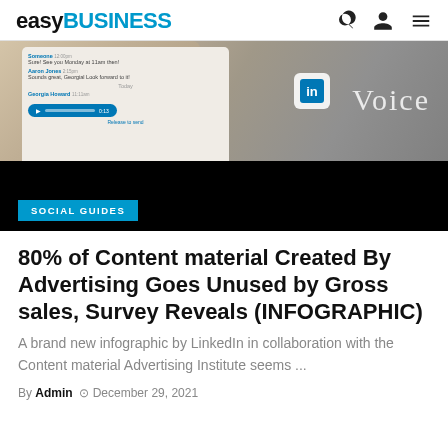easyBUSINESS
[Figure (photo): Hero image showing a smartphone displaying LinkedIn messaging interface with voice message feature, LinkedIn 'in' logo badge visible, text 'Voice' on the right side. Lower half is black with a blue 'SOCIAL GUIDES' label badge.]
80% of Content material Created By Advertising Goes Unused by Gross sales, Survey Reveals (INFOGRAPHIC)
A brand new infographic by LinkedIn in collaboration with the Content material Advertising Institute seems ...
By Admin   December 29, 2021